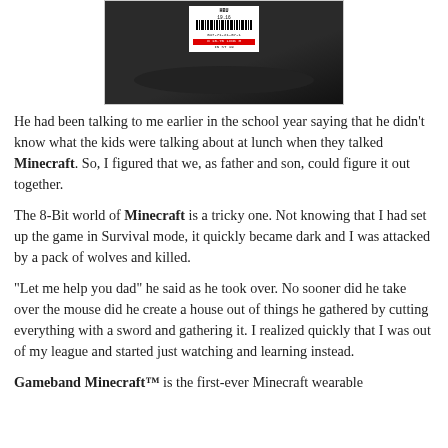[Figure (photo): Photo of a Minecraft Gameband wristband in packaging, showing a dark LED display reading 10:35 in red digits, with a barcode price tag sticker on the packaging.]
He had been talking to me earlier in the school year saying that he didn't know what the kids were talking about at lunch when they talked Minecraft. So, I figured that we, as father and son, could figure it out together.
The 8-Bit world of Minecraft is a tricky one. Not knowing that I had set up the game in Survival mode, it quickly became dark and I was attacked by a pack of wolves and killed.
"Let me help you dad" he said as he took over. No sooner did he take over the mouse did he create a house out of things he gathered by cutting everything with a sword and gathering it. I realized quickly that I was out of my league and started just watching and learning instead.
Gameband Minecraft™ is the first-ever Minecraft wearable